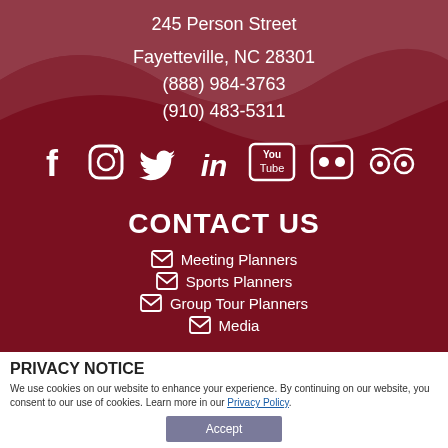245 Person Street
Fayetteville, NC 28301
(888) 984-3763
(910) 483-5311
[Figure (illustration): Row of social media icons: Facebook, Instagram, Twitter, LinkedIn, YouTube, Flickr, TripAdvisor]
CONTACT US
Meeting Planners
Sports Planners
Group Tour Planners
Media
© 2022 Fayetteville Area Convention & Visitors Bureau
PRIVACY NOTICE
We use cookies on our website to enhance your experience. By continuing on our website, you consent to our use of cookies. Learn more in our Privacy Policy.